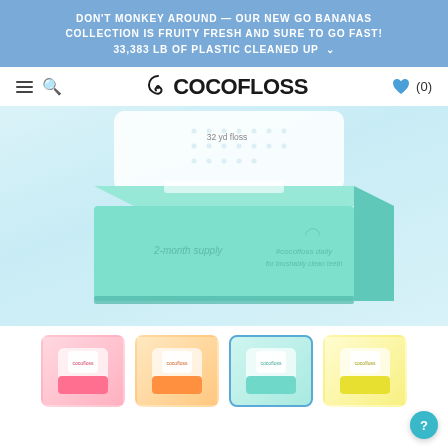DON'T MONKEY AROUND — OUR NEW GO BANANAS COLLECTION IS FRUITY FRESH AND SURE TO GO FAST! 33,383 LB OF PLASTIC CLEANED UP ∨
🌀COCOFLOSS
[Figure (photo): Mint/teal colored Cocofloss dispenser box product shot on a light blue gradient background, showing '32 yd floss' label on the clear inner case, '2-month supply' and '#cocofloss daily for brushably clean teeth' text on the teal box]
[Figure (photo): Four product thumbnail images: pink floss case, orange floss case, teal/mint floss case (selected with blue border), yellow floss case]